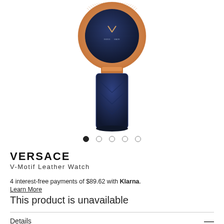[Figure (photo): Versace V-Motif Leather Watch with rose gold case, blue dial, and blue quilted leather strap, shown partially cropped from above]
VERSACE
V-Motif Leather Watch
4 interest-free payments of $89.62 with Klarna.
Learn More
This product is unavailable
Details